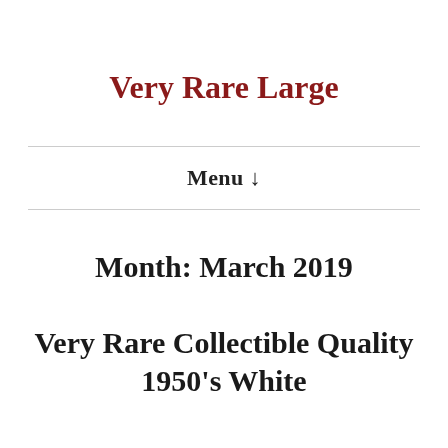Very Rare Large
Menu ↓
Month: March 2019
Very Rare Collectible Quality 1950's White